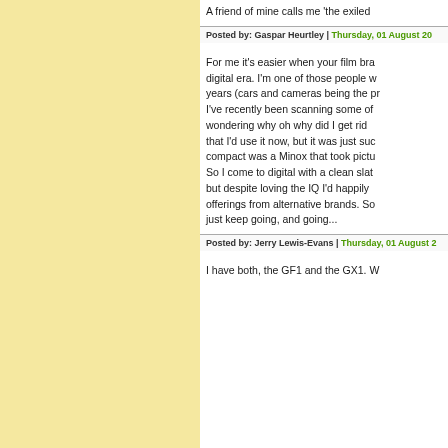A friend of mine calls me 'the exiled
Posted by: Gaspar Heurtley | Thursday, 01 August 20
For me it's easier when your film bra digital era. I'm one of those people w years (cars and cameras being the pr I've recently been scanning some of wondering why oh why did I get rid that I'd use it now, but it was just suc compact was a Minox that took pictu So I come to digital with a clean slat but despite loving the IQ I'd happily offerings from alternative brands. So just keep going, and going...
Posted by: Jerry Lewis-Evans | Thursday, 01 August 2
I have both, the GF1 and the GX1. W